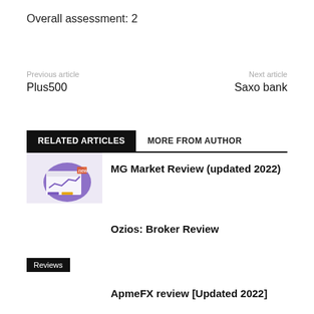Overall assessment: 2
Previous article
Plus500
Next article
Saxo bank
RELATED ARTICLES	MORE FROM AUTHOR
[Figure (photo): Thumbnail image for MG Market Review article showing purple chart graphic]
MG Market Review (updated 2022)
Ozios: Broker Review
Reviews
ApmeFX review [Updated 2022]